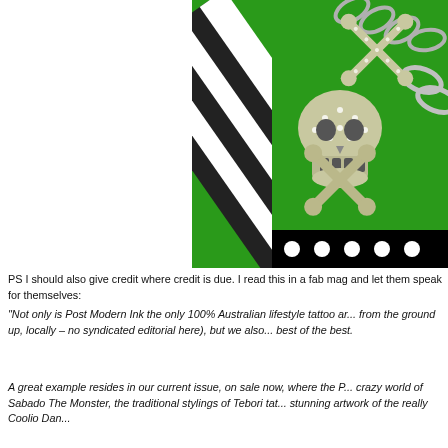[Figure (photo): Photo of a jeweled skull-and-crossbones pendant/charm on a chain, resting on a bright green fabric surface with black-and-white striped material in the background.]
PS I should also give credit where credit is due. I read this in a fab mag and let them speak for themselves:
“Not only is Post Modern Ink the only 100% Australian lifestyle tattoo art... from the ground up, locally – no syndicated editorial here), but we also... best of the best.
A great example resides in our current issue, on sale now, where the P... crazy world of Sabado The Monster, the traditional stylings of Tebori tat... stunning artwork of the really Coolio Dan...